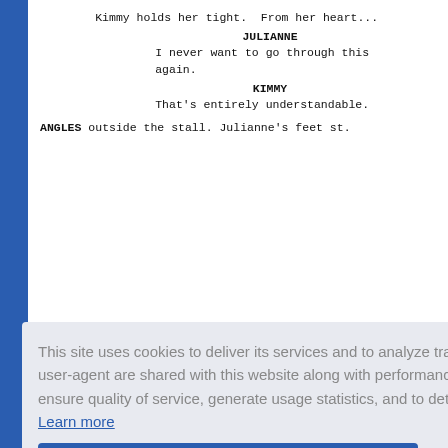Kimmy holds her tight.  From her heart...
JULIANNE
I never want to go through this
again.
KIMMY
That's entirely understandable.
ANGLES   outside the stall.  Julianne's feet st...
...hand, at
door, and...
...].
...ed CHAPE...
...de rangi...
girls JU...
us, twi...
JULIANNE
(cutting this short)
This site uses cookies to deliver its services and to analyze traffic. Your IP address and user-agent are shared with this website along with performance and security metrics to ensure quality of service, generate usage statistics, and to detect and address abuse.
Learn more
Got it!